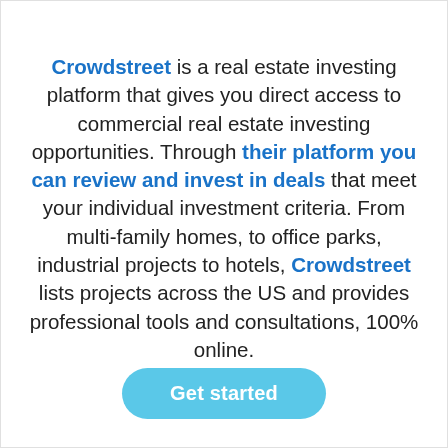Crowdstreet is a real estate investing platform that gives you direct access to commercial real estate investing opportunities. Through their platform you can review and invest in deals that meet your individual investment criteria. From multi-family homes, to office parks, industrial projects to hotels, Crowdstreet lists projects across the US and provides professional tools and consultations, 100% online.
Get started